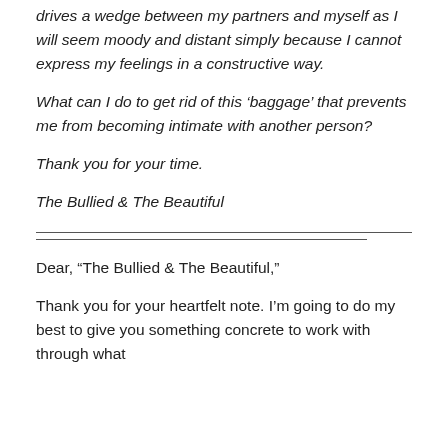drives a wedge between my partners and myself as I will seem moody and distant simply because I cannot express my feelings in a constructive way.
What can I do to get rid of this 'baggage' that prevents me from becoming intimate with another person?
Thank you for your time.
The Bullied & The Beautiful
Dear, “The Bullied & The Beautiful,”
Thank you for your heartfelt note. I’m going to do my best to give you something concrete to work with through what